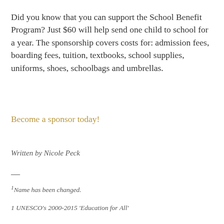Did you know that you can support the School Benefit Program? Just $60 will help send one child to school for a year. The sponsorship covers costs for: admission fees, boarding fees, tuition, textbooks, school supplies, uniforms, shoes, schoolbags and umbrellas.
Become a sponsor today!
Written by Nicole Peck
—
¹Name has been changed.
1 UNESCO's 2000-2015 'Education for All'